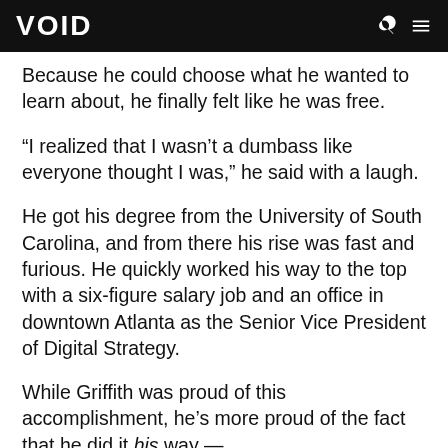VOID
Because he could choose what he wanted to learn about, he finally felt like he was free.
“I realized that I wasn’t a dumbass like everyone thought I was,” he said with a laugh.
He got his degree from the University of South Carolina, and from there his rise was fast and furious. He quickly worked his way to the top with a six-figure salary job and an office in downtown Atlanta as the Senior Vice President of Digital Strategy.
While Griffith was proud of this accomplishment, he’s more proud of the fact that he did it his way —